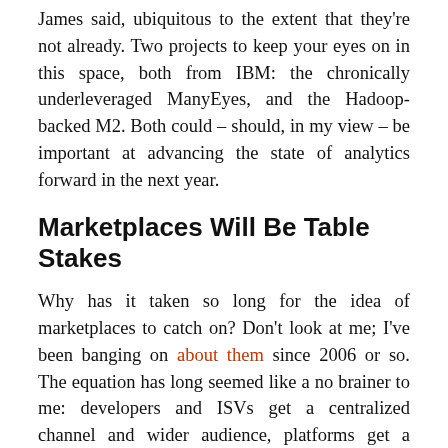James said, ubiquitous to the extent that they're not already. Two projects to keep your eyes on in this space, both from IBM: the chronically underleveraged ManyEyes, and the Hadoop-backed M2. Both could – should, in my view – be important at advancing the state of analytics forward in the next year.
Marketplaces Will Be Table Stakes
Why has it taken so long for the idea of marketplaces to catch on? Don't look at me; I've been banging on about them since 2006 or so. The equation has long seemed like a no brainer to me: developers and ISVs get a centralized channel and wider audience, platforms get a wider ecosystem, and customers get a more efficient discovery and acquisition process – at a minimum.